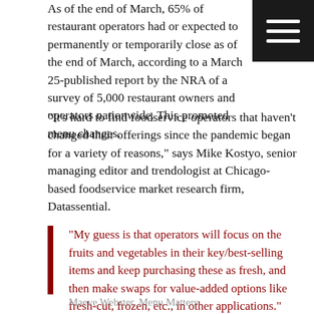As of the end of March, 65% of restaurant operators had or expected to permanently or temporarily close as of the end of March, according to a March 25-published report by the NRA of a survey of 5,000 restaurant owners and operators nationwide. This promoted menu changes.
“It’s hard to find foodservice operators that haven't changed their offerings since the pandemic began for a variety of reasons,” says Mike Kostyo, senior managing editor and trendologist at Chicago-based foodservice market research firm, Datassential.
“My guess is that operators will focus on the fruits and vegetables in their key/best-selling items and keep purchasing these as fresh, and then make swaps for value-added options like fresh-cut, frozen, etc., in other applications.”
Maeve Webster, Menu Matters